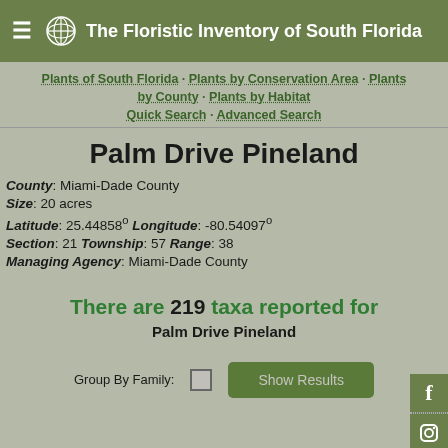The Floristic Inventory of South Florida
Plants of South Florida · Plants by Conservation Area · Plants by County · Plants by Habitat
Quick Search · Advanced Search
Palm Drive Pineland
County: Miami-Dade County
Size: 20 acres
Latitude: 25.44858° Longitude: -80.54097°
Section: 21 Township: 57 Range: 38
Managing Agency: Miami-Dade County
There are 219 taxa reported for Palm Drive Pineland
Group By Family: [checkbox] Show Results